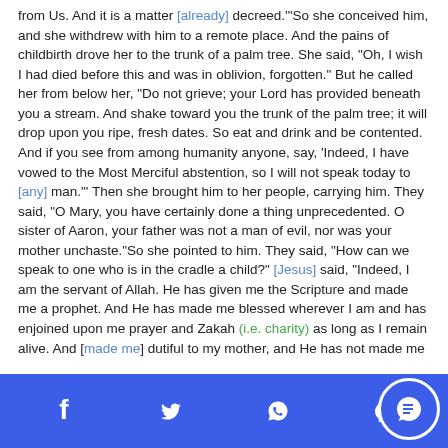from Us. And it is a matter [already] decreed.'"So she conceived him, and she withdrew with him to a remote place. And the pains of childbirth drove her to the trunk of a palm tree. She said, "Oh, I wish I had died before this and was in oblivion, forgotten." But he called her from below her, "Do not grieve; your Lord has provided beneath you a stream. And shake toward you the trunk of the palm tree; it will drop upon you ripe, fresh dates. So eat and drink and be contented. And if you see from among humanity anyone, say, 'Indeed, I have vowed to the Most Merciful abstention, so I will not speak today to [any] man.'" Then she brought him to her people, carrying him. They said, "O Mary, you have certainly done a thing unprecedented. O sister of Aaron, your father was not a man of evil, nor was your mother unchaste."So she pointed to him. They said, "How can we speak to one who is in the cradle a child?" [Jesus] said, "Indeed, I am the servant of Allah. He has given me the Scripture and made me a prophet. And He has made me blessed wherever I am and has enjoined upon me prayer and Zakah (i.e. charity) as long as I remain alive. And [made me] dutiful to my mother, and He has not made me
Social media footer bar with Facebook, Twitter, WhatsApp, Messenger icons and chat button